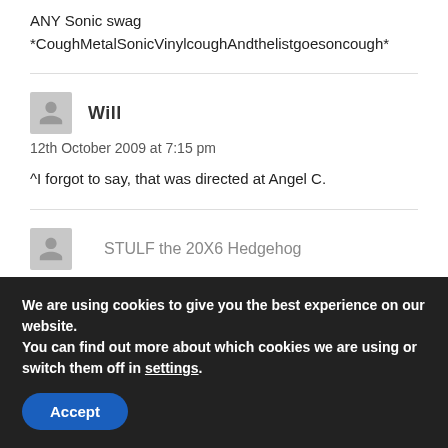ANY Sonic swag
*CoughMetalSonicVinylcoughAndthelistgoesoncough*
Will
12th October 2009 at 7:15 pm
^I forgot to say, that was directed at Angel C.
STULF the 20X6 Hedgehog
We are using cookies to give you the best experience on our website.
You can find out more about which cookies we are using or switch them off in settings.
Accept